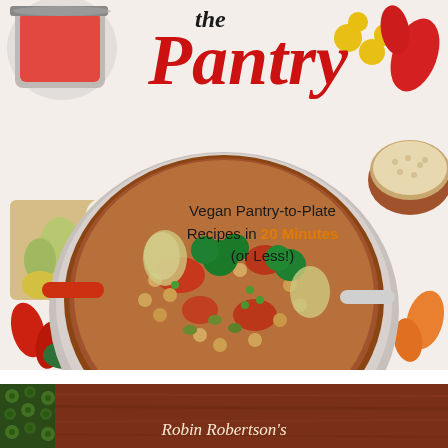[Figure (photo): Book cover for a cookbook titled 'the Pantry' with subtitle 'Vegan Pantry-to-Plate Recipes in 20 Minutes (or Less!)'. The cover features a white background with a large pan of vegetable and chickpea paella-style dish in the center, surrounded by various ingredients including red peppers, garlic, artichokes, cherry tomatoes, a bowl of grains/rice, fresh parsley, and jars of preserved vegetables.]
the Pantry
Vegan Pantry-to-Plate Recipes in 20 Minutes (or Less!)
[Figure (photo): Partial view of a second book cover with a wooden texture background, showing the beginning text 'Robin Robertson's']
Robin Robertson's